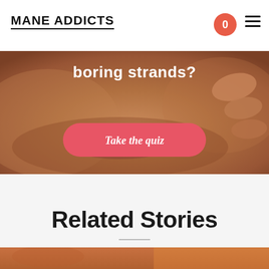MANE ADDICTS
[Figure (photo): Close-up photo of a person's lips and fingers, used as hero background image with text overlay 'boring strands?' and a pink 'Take the quiz' button]
Related Stories